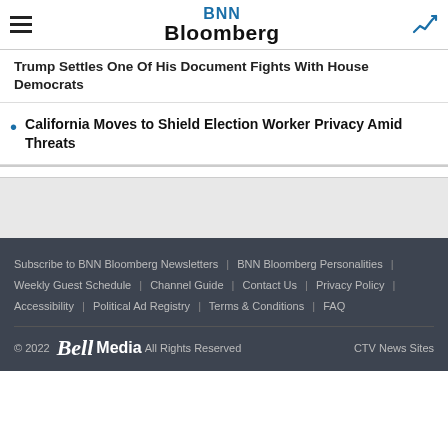BNN Bloomberg
Trump Settles One Of His Document Fights With House Democrats
California Moves to Shield Election Worker Privacy Amid Threats
Subscribe to BNN Bloomberg Newsletters | BNN Bloomberg Personalities | Weekly Guest Schedule | Channel Guide | Contact Us | Privacy Policy | Accessibility | Political Ad Registry | Terms & Conditions | FAQ
© 2022 Bell Media All Rights Reserved  CTV News Sites